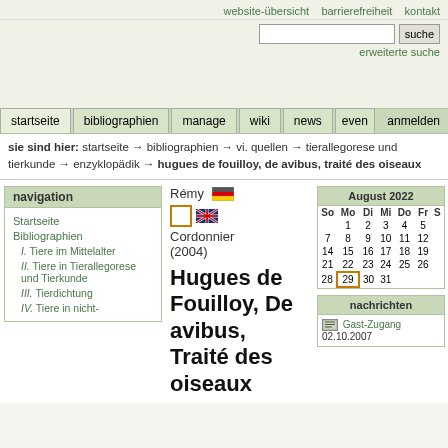website-übersicht  barrierefreiheit  kontakt
[Figure (screenshot): Search bar with text input and 'suche' button, plus 'erweiterte suche' link below]
[Figure (screenshot): Navigation tabs: startseite, bibliographien, manage, wiki, news, even... and anmelden on right]
sie sind hier: startseite → bibliographien → vi. quellen → tierallegorese und tierkunde → enzyklopädik → hugues de fouilloy, de avibus, traité des oiseaux
navigation
Startseite
Bibliographien
I. Tiere im Mittelalter
II. Tiere in Tierallegorese und Tierkunde
III. Tierdichtung
IV. Tiere in nicht-
Rémy
Cordonnier
(2004)
Hugues de Fouilloy, De avibus, Traité des oiseaux
[Figure (screenshot): Calendar for August 2022 showing So Mo Di Mi Do Fr Sa columns with dates 1-31, date 29 highlighted with orange border]
nachrichten
Gast-Zugang
02.10.2007